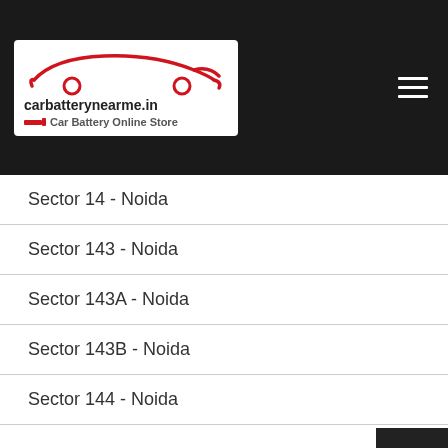carbatterynearme.in — Car Battery Online Store
Sector 14 - Noida
Sector 143 - Noida
Sector 143A - Noida
Sector 143B - Noida
Sector 144 - Noida
Sector 15 - Noida
Quick Battery Finder